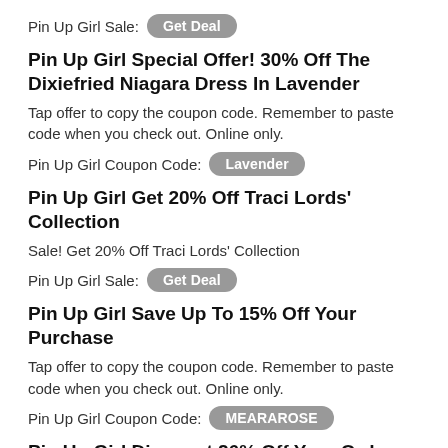Pin Up Girl Sale: [Get Deal button]
Pin Up Girl Special Offer! 30% Off The Dixiefried Niagara Dress In Lavender
Tap offer to copy the coupon code. Remember to paste code when you check out. Online only.
Pin Up Girl Coupon Code: Lavender
Pin Up Girl Get 20% Off Traci Lords' Collection
Sale! Get 20% Off Traci Lords' Collection
Pin Up Girl Sale: [Get Deal button]
Pin Up Girl Save Up To 15% Off Your Purchase
Tap offer to copy the coupon code. Remember to paste code when you check out. Online only.
Pin Up Girl Coupon Code: MEARAROSE
Pin Up Girl Discount 26% Off Your Order
Get 26% off your order.